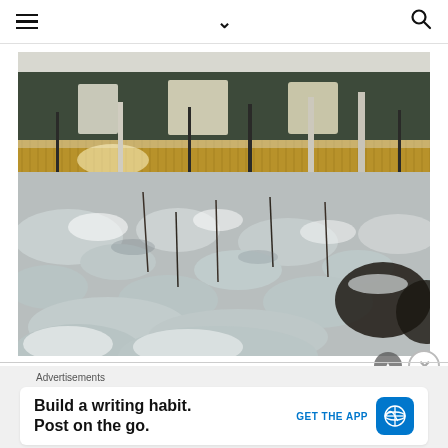Navigation bar with hamburger menu, chevron, and search icon
[Figure (photo): Winter landscape photograph showing a snow-covered field with dried plants and bushes in the foreground, a band of golden-brown reeds or tall grasses in the middle ground, and a dense row of snow-covered evergreen and bare deciduous trees in the background under a pale sky.]
Advertisements
Build a writing habit. Post on the go.
GET THE APP